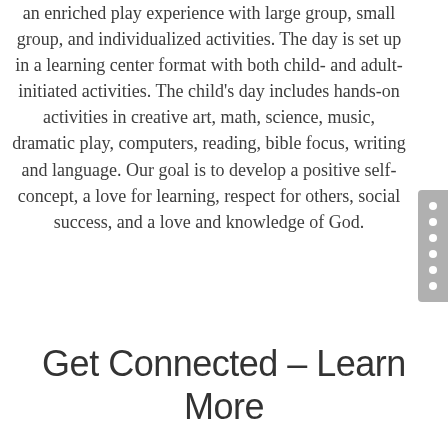an enriched play experience with large group, small group, and individualized activities. The day is set up in a learning center format with both child- and adult-initiated activities. The child's day includes hands-on activities in creative art, math, science, music, dramatic play, computers, reading, bible focus, writing and language. Our goal is to develop a positive self-concept, a love for learning, respect for others, social success, and a love and knowledge of God.
Get Connected – Learn More